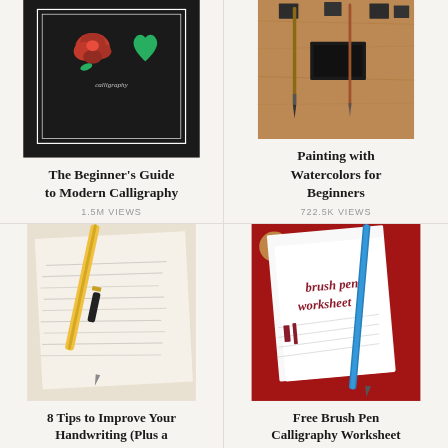[Figure (photo): Calligraphy artwork with red rose and green heart-shaped leaf on a dark background with decorative frame]
The Beginner's Guide to Modern Calligraphy
1.5M VIEWS
[Figure (photo): Watercolor painting supplies including brushes and black ink/paint on a wooden background]
Painting with Watercolors for Beginners
722.5K VIEWS
[Figure (photo): Close-up of handwritten cursive text on paper with a calligraphy pen with gold and black barrel resting on top]
8 Tips to Improve Your Handwriting (Plus a
[Figure (photo): Brush pen calligraphy worksheet on red background with a blue Tombow brush pen resting on top]
Free Brush Pen Calligraphy Worksheet